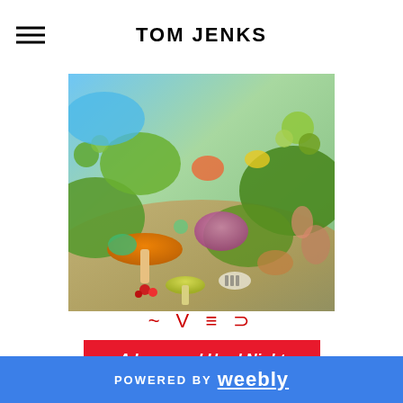TOM JENKS
[Figure (photo): A colorful, surreal 3D-rendered landscape densely packed with oversized mushrooms, alien plants, and fantastical vegetation in vivid greens, yellows, reds, blues, and pinks.]
~ V ≡ ⊃
A Long and Hard Night Troubled by Visions
POWERED BY weebly